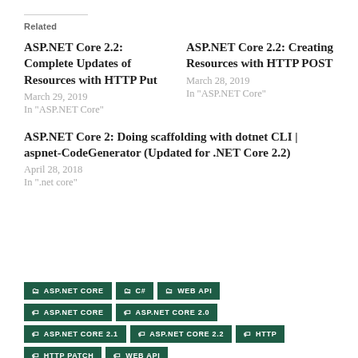Related
ASP.NET Core 2.2: Complete Updates of Resources with HTTP Put
March 29, 2019
In "ASP.NET Core"
ASP.NET Core 2.2: Creating Resources with HTTP POST
March 28, 2019
In "ASP.NET Core"
ASP.NET Core 2: Doing scaffolding with dotnet CLI | aspnet-CodeGenerator (Updated for .NET Core 2.2)
April 28, 2018
In ".net core"
ASP.NET CORE
C#
WEB API
ASP.NET CORE
ASP.NET CORE 2.0
ASP.NET CORE 2.1
ASP.NET CORE 2.2
HTTP
HTTP PATCH
WEB API